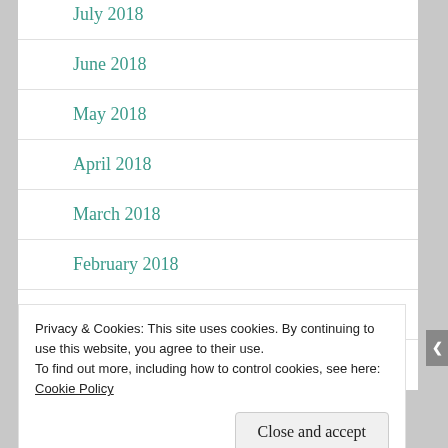July 2018
June 2018
May 2018
April 2018
March 2018
February 2018
January 2018
December 2017
Privacy & Cookies: This site uses cookies. By continuing to use this website, you agree to their use.
To find out more, including how to control cookies, see here: Cookie Policy
Close and accept